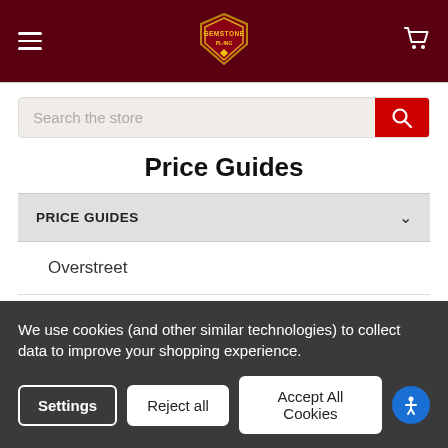Gemstone navigation header with hamburger menu and cart icon
Search the store
Price Guides
PRICE GUIDES
Overstreet
Hake's
Hall of Fame
We use cookies (and other similar technologies) to collect data to improve your shopping experience.
Settings | Reject all | Accept All Cookies